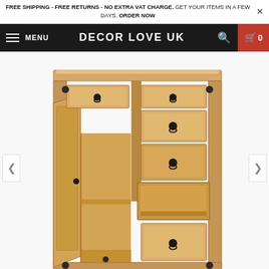FREE SHIPPING - FREE RETURNS - NO EXTRA VAT CHARGE. GET YOUR ITEMS IN A FEW DAYS. ORDER NOW
DECOR LOVE UK  MENU  [search] [cart 0]
[Figure (photo): A pine wood sideboard cabinet with 1 open door on the left revealing interior shelf space, and 4 drawers on the right side with black ring pull handles. Top has 2 smaller drawers side by side. Mexican/Corona style solid pine furniture with natural wax finish.]